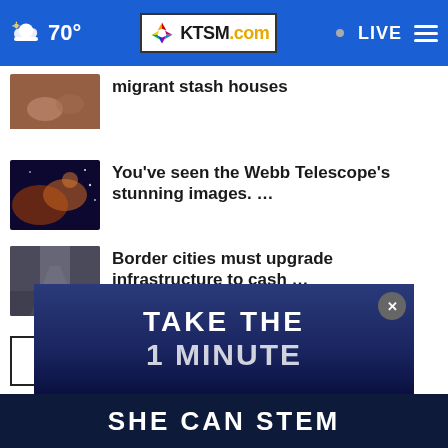70° KTSM.com LIVE
migrant stash houses
You've seen the Webb Telescope's stunning images. …
Border cities must upgrade infrastructure to cash …
More Stories ›
[Figure (screenshot): Advertisement banner: TAKE THE 1 MINUTE / SHE CAN STEM TODAY with close button]
SHE CAN STEM